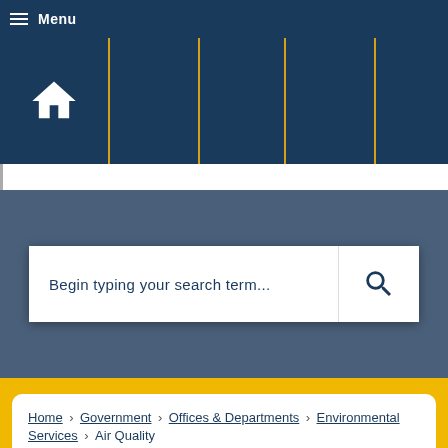Menu
[Figure (screenshot): Navigation icon bar with home, email, Facebook, Twitter, LinkedIn, and other social/accessibility icons on dark navy background with gold dividers]
Begin typing your search term...
Home › Government › Offices & Departments › Environmental Services › Air Quality